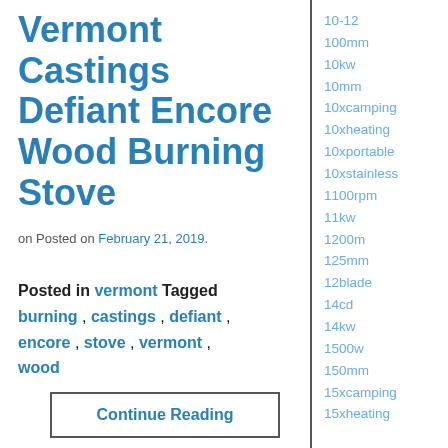Vermont Castings Defiant Encore Wood Burning Stove
on Posted on February 21, 2019.
Posted in vermont Tagged burning , castings , defiant , encore , stove , vermont , wood
Continue Reading
10-12
100mm
10kw
10mm
10xcamping
10xheating
10xportable
10xstainless
1100rpm
11kw
1200m
125mm
12blade
14cd
14kw
1500w
150mm
15xcamping
15xheating